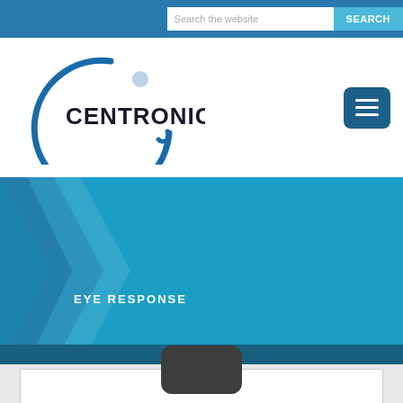Search the website | SEARCH
[Figure (logo): Centronic company logo with blue circular arc and dot]
[Figure (illustration): Blue hero banner with geometric chevron shapes and EYE RESPONSE text]
EYE RESPONSE
[Figure (other): Bottom section with dark rounded rectangle UI element and white card]